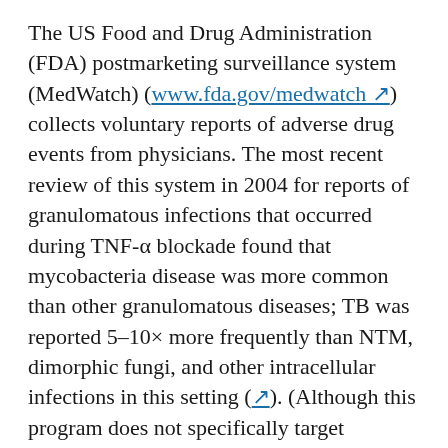The US Food and Drug Administration (FDA) postmarketing surveillance system (MedWatch) (www.fda.gov/medwatch ↗) collects voluntary reports of adverse drug events from physicians. The most recent review of this system in 2004 for reports of granulomatous infections that occurred during TNF-α blockade found that mycobacteria disease was more common than other granulomatous diseases; TB was reported 5–10× more frequently than NTM, dimorphic fungi, and other intracellular infections in this setting (↗). (Although this program does not specifically target participation outside the United States, it also includes nondomestic case reports.) Subsequently, much attention has been focused on prevention of TB in patients who are using anti–TNF-α agents. To date, little is known regarding the types and relative frequencies of NTM infections that occur